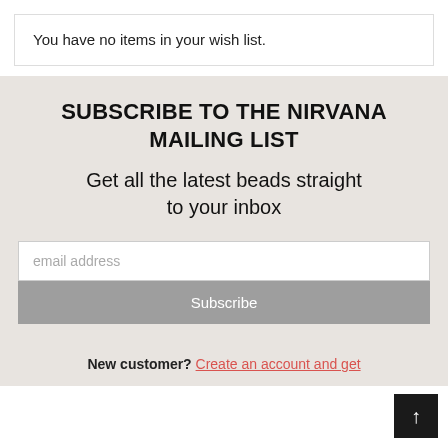You have no items in your wish list.
SUBSCRIBE TO THE NIRVANA MAILING LIST
Get all the latest beads straight to your inbox
email address
Subscribe
New customer? Create an account and get